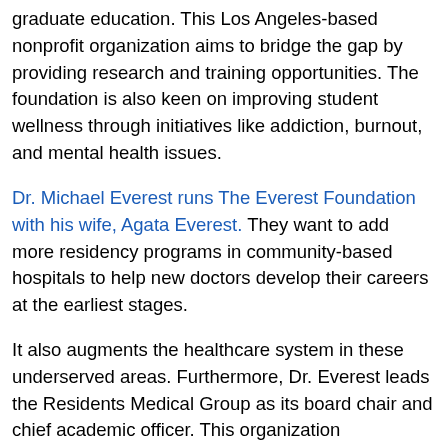graduate education. This Los Angeles-based nonprofit organization aims to bridge the gap by providing research and training opportunities. The foundation is also keen on improving student wellness through initiatives like addiction, burnout, and mental health issues.
Dr. Michael Everest runs The Everest Foundation with his wife, Agata Everest. They want to add more residency programs in community-based hospitals to help new doctors develop their careers at the earliest stages.
It also augments the healthcare system in these underserved areas. Furthermore, Dr. Everest leads the Residents Medical Group as its board chair and chief academic officer. This organization complements the work of the Everest Foundation.